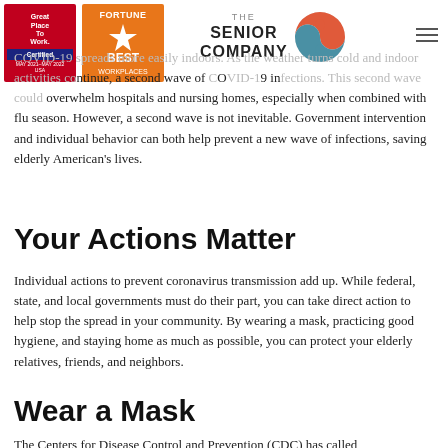[Figure (logo): Great Place To Work Certified badge (red and blue)]
[Figure (logo): Fortune Best Workplaces badge (orange/gold)]
[Figure (logo): The Senior Company logo with swirl graphic]
COVID-19 spreads more easily indoors. As the weather turns cold and indoor activities continue, a second wave of COVID-19 infections. This second wave could overwhelm hospitals and nursing homes, especially when combined with flu season. However, a second wave is not inevitable. Government intervention and individual behavior can both help prevent a new wave of infections, saving elderly American's lives.
Your Actions Matter
Individual actions to prevent coronavirus transmission add up. While federal, state, and local governments must do their part, you can take direct action to help stop the spread in your community. By wearing a mask, practicing good hygiene, and staying home as much as possible, you can protect your elderly relatives, friends, and neighbors.
Wear a Mask
The Centers for Disease Control and Prevention (CDC) has called